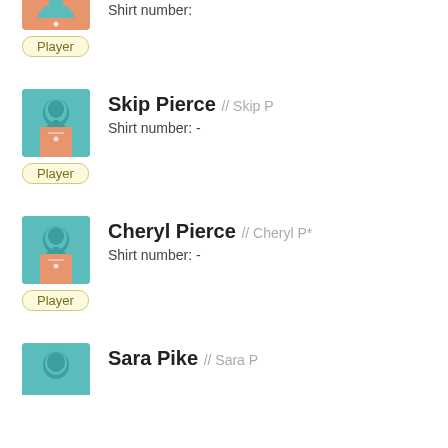[Figure (illustration): Partial player avatar (bottom portion showing orange jersey) at top of page]
Shirt number:
Player
[Figure (illustration): Player avatar with teal head silhouette and orange jersey]
Skip Pierce // Skip P
Shirt number: -
Player
[Figure (illustration): Player avatar with teal head silhouette and orange jersey]
Cheryl Pierce // Cheryl P*
Shirt number: -
Player
[Figure (illustration): Player avatar with teal head silhouette and orange jersey (partial, bottom cut off)]
Sara Pike // Sara P